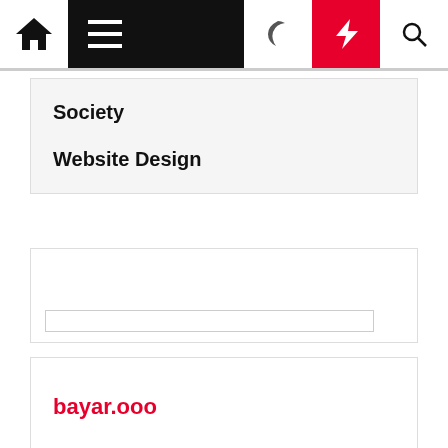[Figure (screenshot): Website navigation bar with home icon, hamburger menu on black background, moon icon, red lightning bolt button, and search icon]
Society
Website Design
[Figure (screenshot): Empty widget box with an input/search field at the bottom]
bayar.ooo
buybacklinks